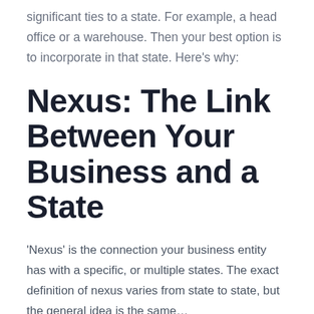significant ties to a state. For example, a head office or a warehouse. Then your best option is to incorporate in that state. Here's why:
Nexus: The Link Between Your Business and a State
'Nexus' is the connection your business entity has with a specific, or multiple states. The exact definition of nexus varies from state to state, but the general idea is the same…